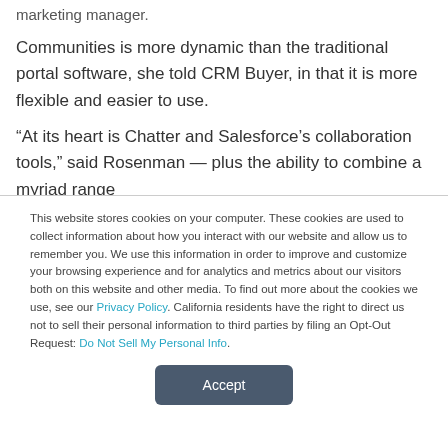marketing manager.
Communities is more dynamic than the traditional portal software, she told CRM Buyer, in that it is more flexible and easier to use.
“At its heart is Chatter and Salesforce’s collaboration tools,” said Rosenman — plus the ability to combine a myriad range
This website stores cookies on your computer. These cookies are used to collect information about how you interact with our website and allow us to remember you. We use this information in order to improve and customize your browsing experience and for analytics and metrics about our visitors both on this website and other media. To find out more about the cookies we use, see our Privacy Policy. California residents have the right to direct us not to sell their personal information to third parties by filing an Opt-Out Request: Do Not Sell My Personal Info.
Accept